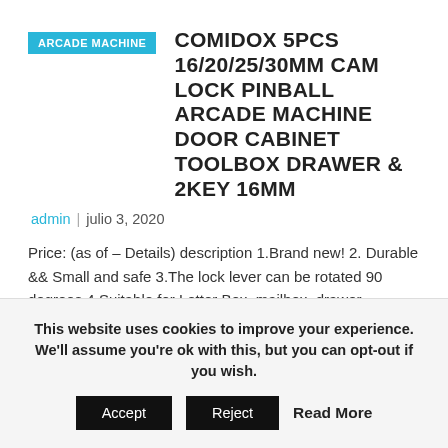ARCADE MACHINE
COMIDOX 5PCS 16/20/25/30MM CAM LOCK PINBALL ARCADE MACHINE DOOR CABINET TOOLBOX DRAWER & 2KEY 16MM
admin | julio 3, 2020
Price: (as of – Details) description 1.Brand new! 2. Durable && Small and safe 3.The lock lever can be rotated 90 degrees 4.Suitable for Letter Box, mailbox, drawer,
Leer más
This website uses cookies to improve your experience. We'll assume you're ok with this, but you can opt-out if you wish.
Accept   Reject   Read More